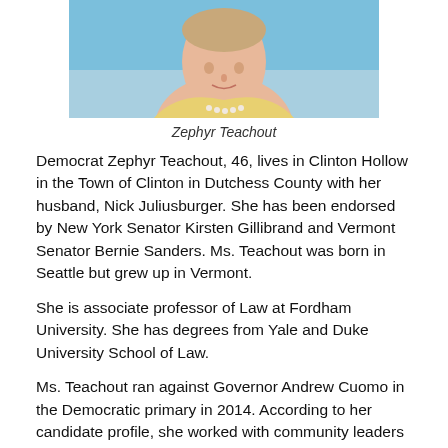[Figure (photo): Portrait photo of Zephyr Teachout against a blue background, wearing a yellow top and pearl necklace, cropped at the shoulders/neck area]
Zephyr Teachout
Democrat Zephyr Teachout, 46, lives in Clinton Hollow in the Town of Clinton in Dutchess County with her husband, Nick Juliusburger. She has been endorsed by New York Senator Kirsten Gillibrand and Vermont Senator Bernie Sanders. Ms. Teachout was born in Seattle but grew up in Vermont.
She is associate professor of Law at Fordham University. She has degrees from Yale and Duke University School of Law.
Ms. Teachout ran against Governor Andrew Cuomo in the Democratic primary in 2014. According to her candidate profile, she worked with community leaders to stop “dangerous pipelines, fighting back against oppressive high-stake testing in our public schools, and cleaning up corruption in Albany and Washington, DC.” She is also a distance runner and has run in several local 5K charity